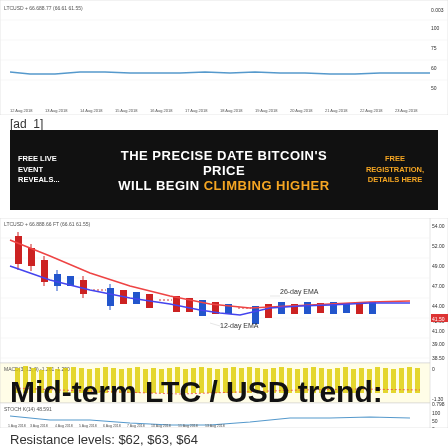[Figure (continuous-plot): Top section showing a smaller LTC/USD chart with a blue line oscillating around a flat level, with date axis labels from mid-August. Y-axis labels on right.]
[ad_1]
[Figure (infographic): Black advertisement banner reading: FREE LIVE EVENT REVEALS... THE PRECISE DATE BITCOIN'S PRICE WILL BEGIN CLIMBING HIGHER. FREE REGISTRATION, DETAILS HERE]
[Figure (continuous-plot): Main LTC/USD candlestick chart showing a downtrend from ~$55 to ~$40 with red and blue candlesticks, a red 26-day EMA line curving down, a blue 12-day EMA line, and a yellow volume histogram below. A smaller oscillator panel beneath.]
Mid-term LTC / USD trend:
Resistance levels: $62, $63, $64